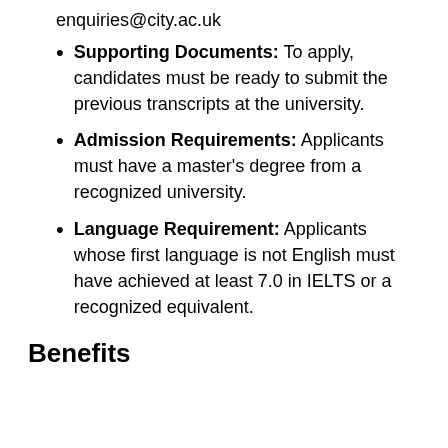enquiries@city.ac.uk
Supporting Documents: To apply, candidates must be ready to submit the previous transcripts at the university.
Admission Requirements: Applicants must have a master's degree from a recognized university.
Language Requirement: Applicants whose first language is not English must have achieved at least 7.0 in IELTS or a recognized equivalent.
Benefits